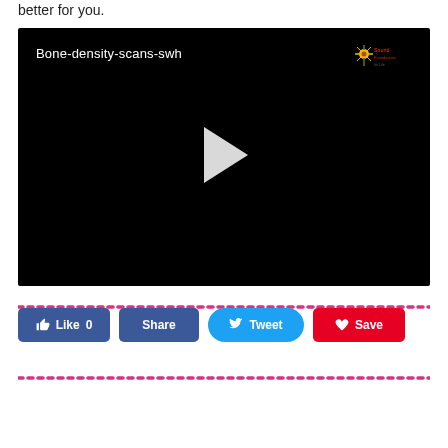better for you.
[Figure (screenshot): Embedded video player with black background showing title 'Bone-density-scans-swh', a white play button triangle in the center, and a logo in the top-right corner.]
Like 0   Share   Tweet   Save